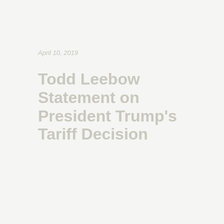April 10, 2019
Todd Leebow Statement on President Trump’s Tariff Decision
by admin